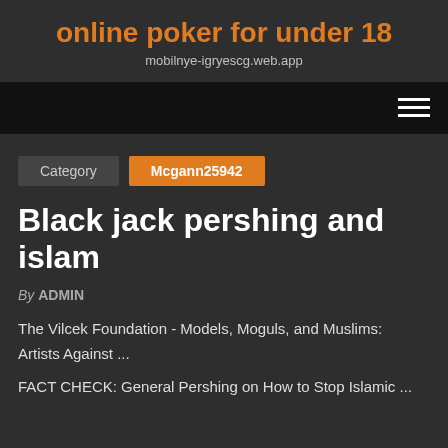online poker for under 18
mobilnye-igryescg.web.app
[Figure (other): Navigation bar with hamburger menu icon (three horizontal white lines) on black background]
Category   Mcgann25942
Black jack pershing and islam
By ADMIN
The Vilcek Foundation - Models, Moguls, and Muslims: Artists Against ...
FACT CHECK: General Pershing on How to Stop Islamic ...